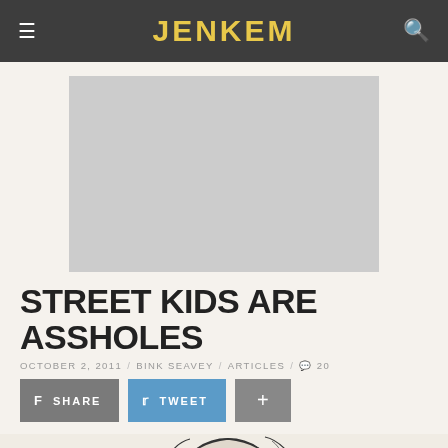JENKEM
[Figure (other): Gray advertisement placeholder block]
STREET KIDS ARE ASSHOLES
OCTOBER 2, 2011 / BINK SEAVEY / ARTICLES / 20
SHARE  TWEET  +
[Figure (illustration): Black and white line drawing illustration of a heavily tattooed young man's face and neck with text tattoos reading 'TRUST FUND', 'HOBO-LIFE', 'NO REGARD', 'SPIRITUALITY', 'YOU AD']